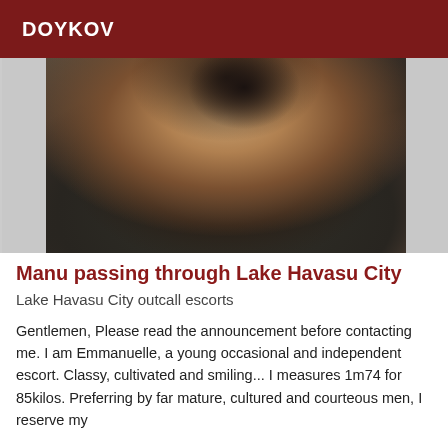DOYKOV
[Figure (photo): Close-up photo of a woman with curly hair wearing a dark grey top, shown from shoulders up and mid-torso.]
Manu passing through Lake Havasu City
Lake Havasu City outcall escorts
Gentlemen, Please read the announcement before contacting me. I am Emmanuelle, a young occasional and independent escort. Classy, cultivated and smiling... I measures 1m74 for 85kilos. Preferring by far mature, cultured and courteous men, I reserve my